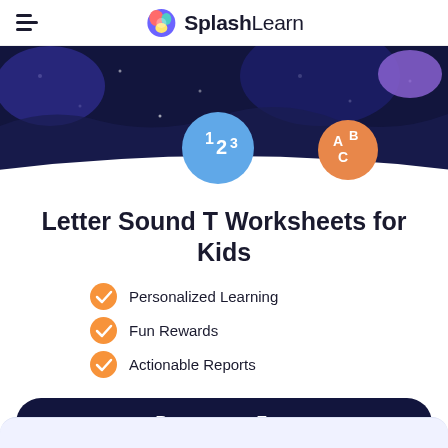SplashLearn
[Figure (illustration): Dark navy hero banner with colorful blobs, a blue circle with '123', and an orange circle with 'ABC' letters, with small stars scattered]
Letter Sound T Worksheets for Kids
Personalized Learning
Fun Rewards
Actionable Reports
Parents  |  For Free
Filter